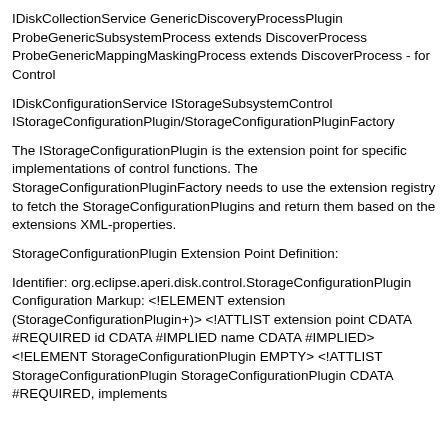IDiskCollectionService GenericDiscoveryProcessPlugin ProbeGenericSubsystemProcess extends DiscoverProcess ProbeGenericMappingMaskingProcess extends DiscoverProcess - for Control
IDiskConfigurationService IStorageSubsystemControl IStorageConfigurationPlugin/StorageConfigurationPluginFactory
The IStorageConfigurationPlugin is the extension point for specific implementations of control functions. The StorageConfigurationPluginFactory needs to use the extension registry to fetch the StorageConfigurationPlugins and return them based on the extensions XML-properties.
StorageConfigurationPlugin Extension Point Definition:
Identifier: org.eclipse.aperi.disk.control.StorageConfigurationPlugin Configuration Markup: <!ELEMENT extension (StorageConfigurationPlugin+)> <!ATTLIST extension point CDATA #REQUIRED id CDATA #IMPLIED name CDATA #IMPLIED> <!ELEMENT StorageConfigurationPlugin EMPTY> <!ATTLIST StorageConfigurationPlugin StorageConfigurationPlugin CDATA #REQUIRED, implements